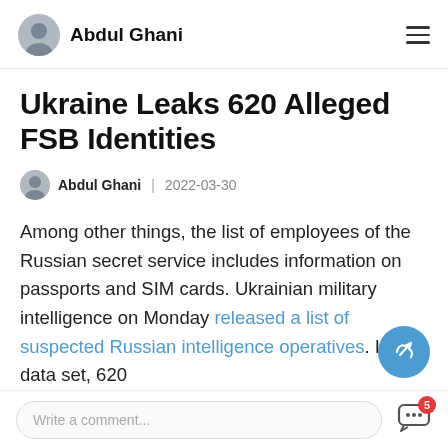Abdul Ghani
Ukraine Leaks 620 Alleged FSB Identities
Abdul Ghani  2022-03-30
Among other things, the list of employees of the Russian secret service includes information on passports and SIM cards. Ukrainian military intelligence on Monday released a list of suspected Russian intelligence operatives. In the data set, 620